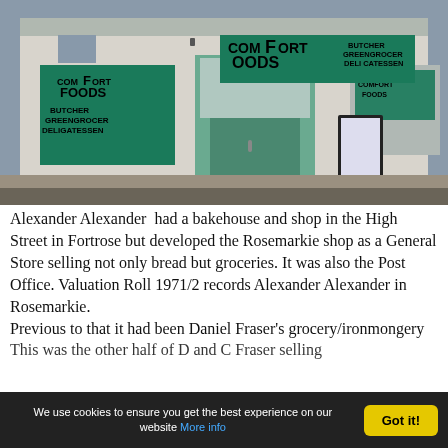[Figure (photo): Exterior photograph of 'Comfort Foods' shop — a whitewashed building with teal/green painted signage reading 'COMFORT FOODS BUTCHER GREENGROCER DELI CATESSEN', a green door entrance, sandwich board outside, and a corrugated metal roof.]
Alexander Alexander had a bakehouse and shop in the High Street in Fortrose but developed the Rosemarkie shop as a General Store selling not only bread but groceries. It was also the Post Office. Valuation Roll 1971/2 records Alexander Alexander in Rosemarkie.
Previous to that it had been Daniel Fraser's grocery/ironmongery
This was the other half of D and C Fraser selling...
We use cookies to ensure you get the best experience on our website More info   Got it!